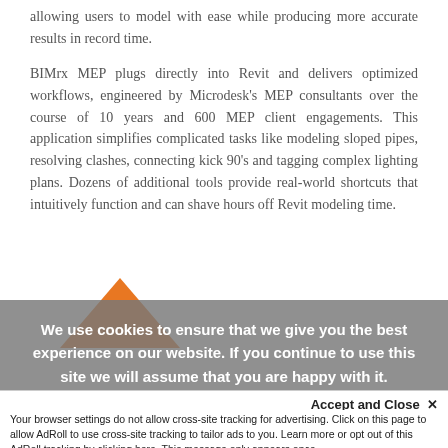allowing users to model with ease while producing more accurate results in record time.
BIMrx MEP plugs directly into Revit and delivers optimized workflows, engineered by Microdesk's MEP consultants over the course of 10 years and 600 MEP client engagements. This application simplifies complicated tasks like modeling sloped pipes, resolving clashes, connecting kick 90's and tagging complex lighting plans. Dozens of additional tools provide real-world shortcuts that intuitively function and can shave hours off Revit modeling time.
[Figure (illustration): Orange triangle/arrow shape pointing upward]
We use cookies to ensure that we give you the best experience on our website. If you continue to use this site we will assume that you are happy with it.
Accept and Close ×
Your browser settings do not allow cross-site tracking for advertising. Click on this page to allow AdRoll to use cross-site tracking to tailor ads to you. Learn more or opt out of this AdRoll tracking by clicking here. This message only appears once.